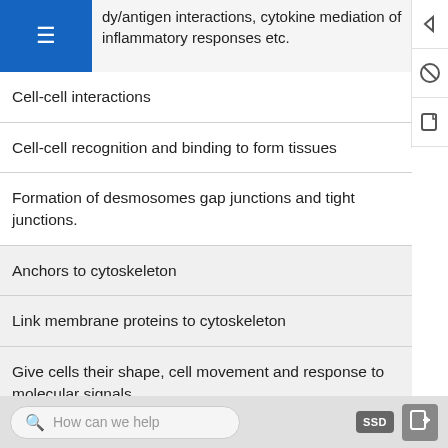Hormones and growth factor signalling, dy/antigen interactions, cytokine mediation of inflammatory responses etc.
Cell-cell interactions
Cell-cell recognition and binding to form tissues
Formation of desmosomes gap junctions and tight junctions.
Anchors to cytoskeleton
Link membrane proteins to cytoskeleton
Give cells their shape, cell movement and response to molecular signals
Enzymatic
Usually multifunctional proteins with enzymatic activities